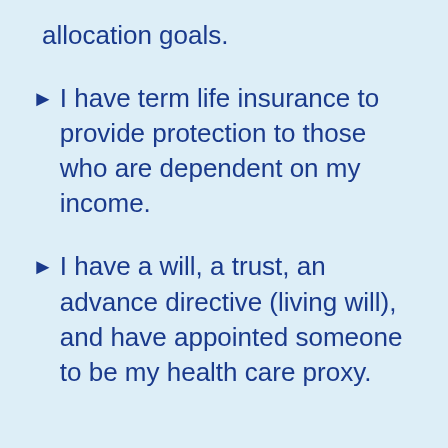allocation goals.
I have term life insurance to provide protection to those who are dependent on my income.
I have a will, a trust, an advance directive (living will), and have appointed someone to be my health care proxy.